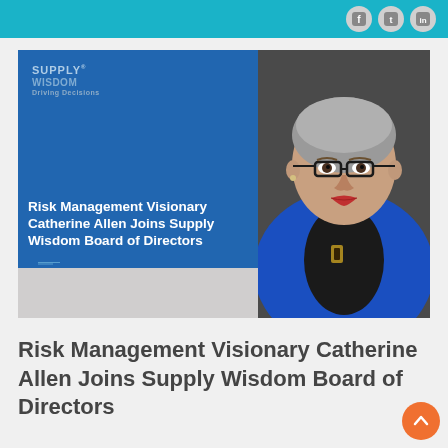Supply Wisdom - social media icons (Facebook, Twitter, LinkedIn)
[Figure (photo): Composite image: left side is a blue panel with Supply Wisdom logo and bold white text reading 'Risk Management Visionary Catherine Allen Joins Supply Wisdom Board of Directors'; right side is a professional portrait photo of Catherine Allen, a woman with short gray hair, black-rimmed glasses, wearing a royal blue blazer over a black turtleneck with a decorative brooch.]
Risk Management Visionary Catherine Allen Joins Supply Wisdom Board of Directors